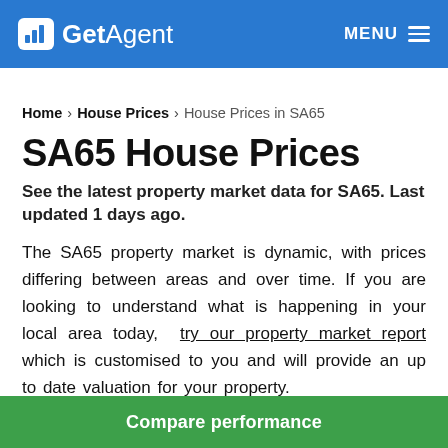GetAgent | MENU
Home > House Prices > House Prices in SA65
SA65 House Prices
See the latest property market data for SA65. Last updated 1 days ago.
The SA65 property market is dynamic, with prices differing between areas and over time. If you are looking to understand what is happening in your local area today, try our property market report which is customised to you and will provide an up to date valuation for your property.
Compare performance